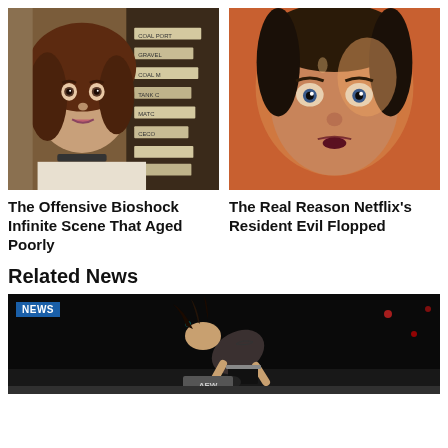[Figure (photo): Screenshot from BioShock Infinite showing a female character with auburn hair, wearing a white top and black choker, with a store shelf in the background]
[Figure (photo): Close-up photo of an actress with wide eyes and an open mouth expression, appearing frightened, from Netflix's Resident Evil]
The Offensive Bioshock Infinite Scene That Aged Poorly
The Real Reason Netflix's Resident Evil Flopped
Related News
[Figure (photo): Wrestling scene from AEW showing a wrestler bent forward in a dark arena with colored lights in background, NEWS badge in top-left corner]